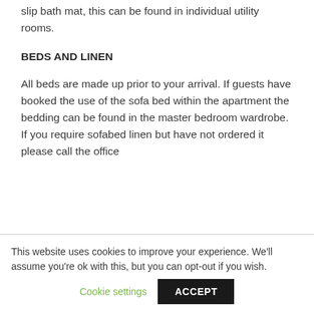slip bath mat, this can be found in individual utility rooms.
BEDS AND LINEN
All beds are made up prior to your arrival. If guests have booked the use of the sofa bed within the apartment the bedding can be found in the master bedroom wardrobe.  If you require sofabed linen but have not ordered it please call the office
This website uses cookies to improve your experience. We'll assume you're ok with this, but you can opt-out if you wish.
Cookie settings
ACCEPT